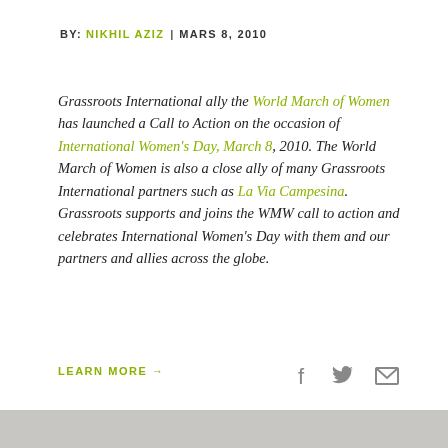BY: NIKHIL AZIZ | MARS 8, 2010
Grassroots International ally the World March of Women has launched a Call to Action on the occasion of International Women's Day, March 8, 2010. The World March of Women is also a close ally of many Grassroots International partners such as La Via Campesina. Grassroots supports and joins the WMW call to action and celebrates International Women's Day with them and our partners and allies across the globe.
LEARN MORE →
[Figure (other): Social media icons: Facebook, Twitter, Email]